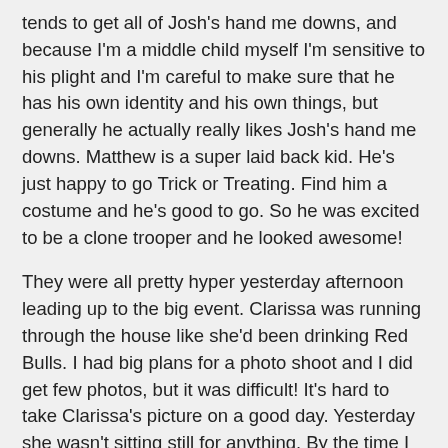tends to get all of Josh's hand me downs, and because I'm a middle child myself I'm sensitive to his plight and I'm careful to make sure that he has his own identity and his own things, but generally he actually really likes Josh's hand me downs. Matthew is a super laid back kid. He's just happy to go Trick or Treating. Find him a costume and he's good to go. So he was excited to be a clone trooper and he looked awesome!
They were all pretty hyper yesterday afternoon leading up to the big event. Clarissa was running through the house like she'd been drinking Red Bulls. I had big plans for a photo shoot and I did get few photos, but it was difficult! It's hard to take Clarissa's picture on a good day. Yesterday she wasn't sitting still for anything. By the time I got to the boys photos the sun was going down and they were ready to get on with the trick or treating, so my big plans for a photo shoot didn't really happen like I had hoped. Someday my kids will be glad that there are photos of them in their Halloween costumes, but at the moment they're pretty much just humoring me and hoping I make it quick, lol.